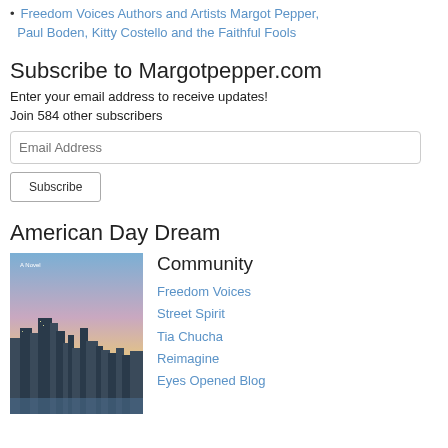Freedom Voices Authors and Artists Margot Pepper, Paul Boden, Kitty Costello and the Faithful Fools
Subscribe to Margotpepper.com
Enter your email address to receive updates!
Join 584 other subscribers
American Day Dream
[Figure (photo): Book cover image showing a city skyline at dusk with tall buildings, labeled 'A Novel' at the top]
Community
Freedom Voices
Street Spirit
Tia Chucha
Reimagine
Eyes Opened Blog